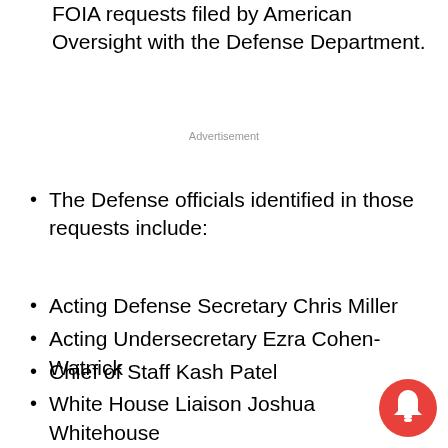FOIA requests filed by American Oversight with the Defense Department.
Advertisement
The Defense officials identified in those requests include:
Acting Defense Secretary Chris Miller
Acting Undersecretary Ezra Cohen-Watnick
Chief of Staff Kash Patel
White House Liaison Joshua Whitehouse
Acting Undersecretary Anthony Tata
Senior Adviser Douglas Macgregor